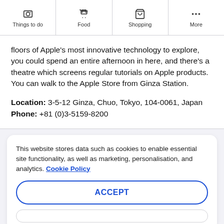Things to do | Food | Shopping | More
floors of Apple's most innovative technology to explore, you could spend an entire afternoon in here, and there's a theatre which screens regular tutorials on Apple products. You can walk to the Apple Store from Ginza Station.

Location: 3-5-12 Ginza, Chuo, Tokyo, 104-0061, Japan
Phone: +81 (0)3-5159-8200
This website stores data such as cookies to enable essential site functionality, as well as marketing, personalisation, and analytics. Cookie Policy
ACCEPT